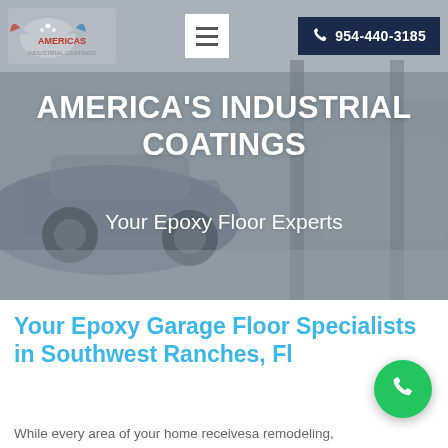[Figure (screenshot): Hero background image showing a car in a garage/automotive setting with gray overlay]
954-440-3185
AMERICA'S INDUSTRIAL COATINGS
Your Epoxy Floor Experts
Your Epoxy Garage Floor Specialists in Southwest Ranches, Fl
While every area of your home receivesa remodeling,